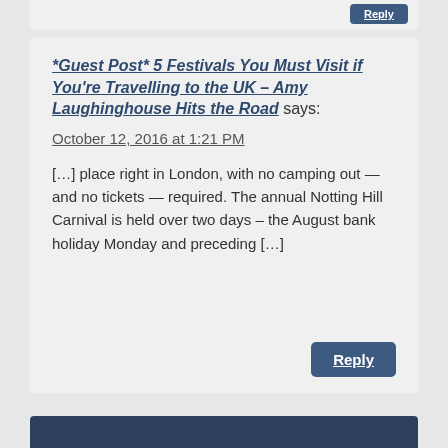*Guest Post* 5 Festivals You Must Visit if You're Travelling to the UK – Amy Laughinghouse Hits the Road says:
October 12, 2016 at 1:21 PM
[…] place right in London, with no camping out — and no tickets — required. The annual Notting Hill Carnival is held over two days – the August bank holiday Monday and preceding […]